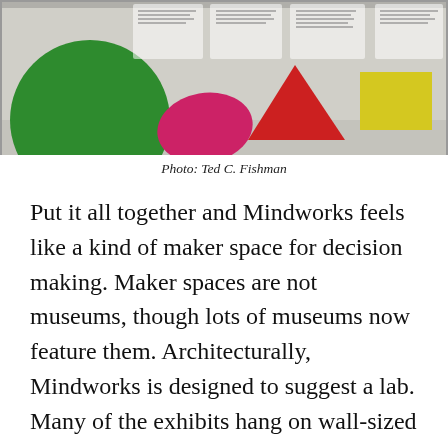[Figure (photo): Interior view of a museum or exhibit space showing colorful geometric shapes (green circle, pink/magenta shape, red triangle, yellow rectangle) on walls with text panels in the background.]
Photo: Ted C. Fishman
Put it all together and Mindworks feels like a kind of maker space for decision making. Maker spaces are not museums, though lots of museums now feature them. Architecturally, Mindworks is designed to suggest a lab. Many of the exhibits hang on wall-sized peg boards. White boards abound. Even exhibit copy is delivered on faux white boards. Activities for visitors are conducted in clean, white, cubby-like examination rooms. In the early days following the opening, Mindworks has been